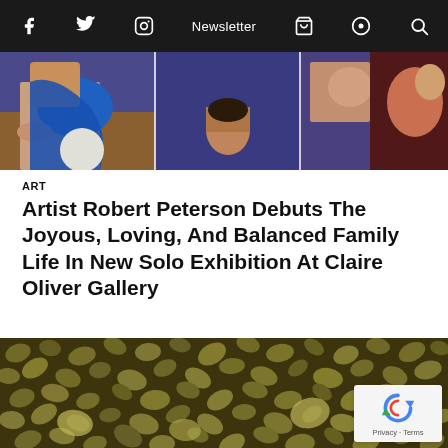f  Twitter  Instagram  Newsletter  Cart  Podcast  Search
[Figure (photo): Cropped hero image showing colorful figurative paintings displayed on a wall with blue, purple and brown tones, showing partial figures and faces]
ART
Artist Robert Peterson Debuts The Joyous, Loving, And Balanced Family Life In New Solo Exhibition At Claire Oliver Gallery
[Figure (photo): Close-up photo of many golden-brown seeds or lentils filling the entire frame, with a reCAPTCHA privacy badge in the lower right corner]